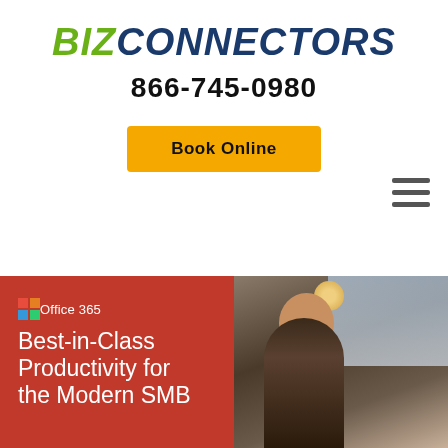BIZCONNECTORS
866-745-0980
Book Online
[Figure (screenshot): Office 365 promotional banner showing 'Best-in-Class Productivity for the Modern SMB' text on a red background with a photo of a smiling businesswoman in an office setting on the right half]
Office 365 Best-in-Class Productivity for the Modern SMB